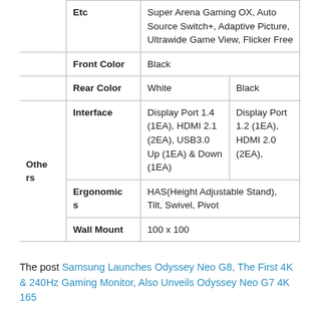|  | Property | Value 1 | Value 2 |
| --- | --- | --- | --- |
|  | Etc | Super Arena Gaming OX, Auto Source Switch+, Adaptive Picture, Ultrawide Game View, Flicker Free |  |
|  | Front Color | Black |  |
|  | Rear Color | White | Black |
| Others | Interface | Display Port 1.4 (1EA), HDMI 2.1 (2EA), USB3.0 Up (1EA) & Down (1EA) | Display Port 1.2 (1EA), HDMI 2.0 (2EA), |
|  | Ergonomics | HAS(Height Adjustable Stand), Tilt, Swivel, Pivot |  |
|  | Wall Mount | 100 x 100 |  |
The post Samsung Launches Odyssey Neo G8, The First 4K & 240Hz Gaming Monitor, Also Unveils Odyssey Neo G7 4K 165